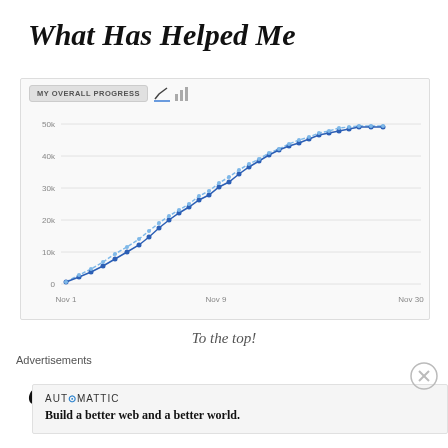What Has Helped Me
[Figure (line-chart): A cumulative line chart showing two overlapping series (dark blue with dots and light blue dashed) rising steeply from near 0 on Nov 1 to approximately 50k on Nov 30. Y-axis labels: 0, 10k, 20k, 30k, 40k, 50k. X-axis labels: Nov 1, Nov 9, Nov 30.]
To the top!
Outlining
Advertisements
AUTOMATTIC
Build a better web and a better world.